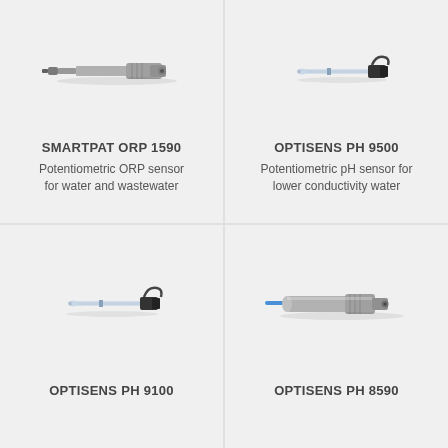[Figure (photo): SMARTPAT ORP 1590 sensor — a cylindrical grey potentiometric ORP sensor probe]
SMARTPAT ORP 1590
Potentiometric ORP sensor for water and wastewater
[Figure (photo): OPTISENS PH 9500 sensor — a thin glass-tube potentiometric pH sensor with black cap]
OPTISENS PH 9500
Potentiometric pH sensor for lower conductivity water
[Figure (photo): OPTISENS PH 9100 sensor — a thin glass-tube pH sensor with black cap, similar to 9500]
OPTISENS PH 9100
[Figure (photo): OPTISENS PH 8590 sensor — a cylindrical grey potentiometric pH sensor with blue cable]
OPTISENS PH 8590